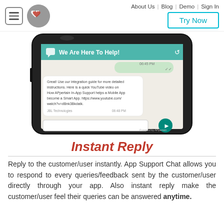About Us | Blog | Demo | Sign In
[Figure (screenshot): Mobile phone screenshot showing a chat interface with 'We Are Here To Help!' header. A message bubble shows: 'Great! Use our integration guide for more detailed instructions. Here is a quick YouTube video on How APpertain In-App Support helps a Mobile App become a Smart App. https://www.youtube.com/watch?v=dBnk3Bkdatk. JBL Technologies 06:48 PM' with a text input field and send button.]
Instant Reply
Reply to the customer/user instantly. App Support Chat allows you to respond to every queries/feedback sent by the customer/user directly through your app. Also instant reply make the customer/user feel their queries can be answered anytime.